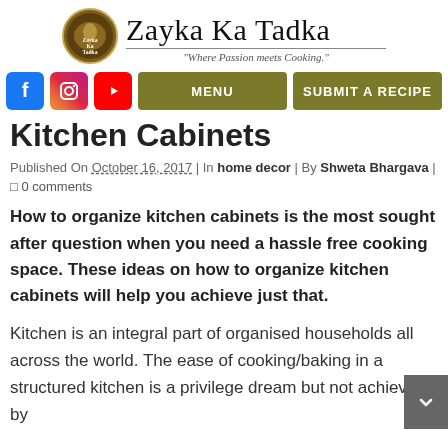Zayka Ka Tadka — "Where Passion meets Cooking."
[Figure (logo): Zayka Ka Tadka circular logo with spoon/food imagery, brown/gold tones]
Kitchen Cabinets
Published On October 16, 2017 | In home decor | By Shweta Bhargava | 0 comments
How to organize kitchen cabinets is the most sought after question when you need a hassle free cooking space. These ideas on how to organize kitchen cabinets will help you achieve just that.
Kitchen is an integral part of organised households all across the world. The ease of cooking/baking in a structured kitchen is a privilege dream but not achieved by